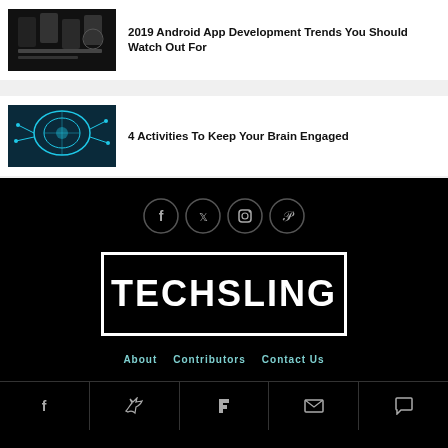2019 Android App Development Trends You Should Watch Out For
4 Activities To Keep Your Brain Engaged
[Figure (logo): Techsling website logo - white bold text TECHSLING on black background with white border]
[Figure (infographic): Social media icons row: Facebook, Twitter, Instagram, Pinterest circles]
About   Contributors   Contact Us
Facebook | Twitter | Flipboard | Email | Comment icons row